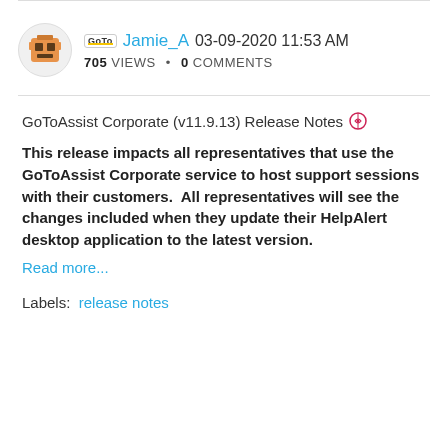Jamie_A 03-09-2020 11:53 AM
705 VIEWS • 0 COMMENTS
GoToAssist Corporate (v11.9.13) Release Notes
This release impacts all representatives that use the GoToAssist Corporate service to host support sessions with their customers.  All representatives will see the changes included when they update their HelpAlert desktop application to the latest version.
Read more...
Labels:  release notes